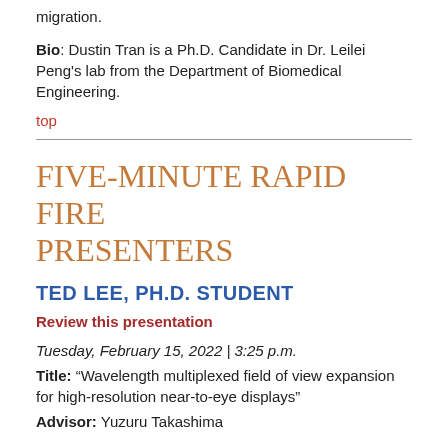migration.
Bio: Dustin Tran is a Ph.D. Candidate in Dr. Leilei Peng's lab from the Department of Biomedical Engineering.
top
FIVE-MINUTE RAPID FIRE PRESENTERS
TED LEE, PH.D. STUDENT
Review this presentation
Tuesday, February 15, 2022 | 3:25 p.m.
Title: “Wavelength multiplexed field of view expansion for high-resolution near-to-eye displays”
Advisor: Yuzuru Takashima